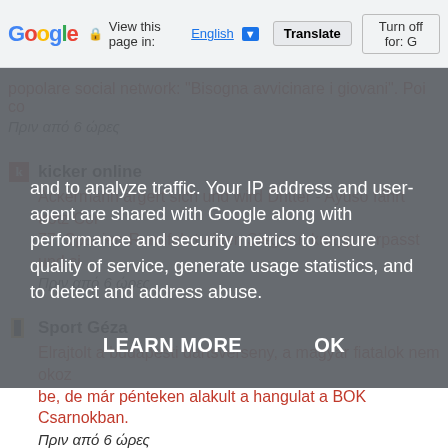Google Translate bar — View this page in: English ▼ | Translate | Turn off for: G
and to analyze traffic. Your IP address and user-agent are shared with Google along with performance and security metrics to ensure quality of service, generate usage statistics, and to detect and address abuse.
LEARN MORE   OK
popolare social network: "Bisogna avvicinare i giovani". Poi co…
Πριν από 6 ώρες
kicker online
Ackermann ärgert sich und wird Dritter - Ayuso fährt trotz Cor… 77. Spanien-Rundfahrt einen Sieg nur knapp verpasst und si…
Πριν από 6 ώρες
Sport Géza
Elrajtolt a budapesti dartsverseny, a magyar fiatalok nem okoz… be, de már pénteken alakult a hangulat a BOK Csarnokban.
Πριν από 6 ώρες
Tiscali - notizie
Tetto al prezzo del gas, ecco perché il ricatto di Mosca può fi… evidente che la guerra in Ucraina sarebbe durata a lungo…